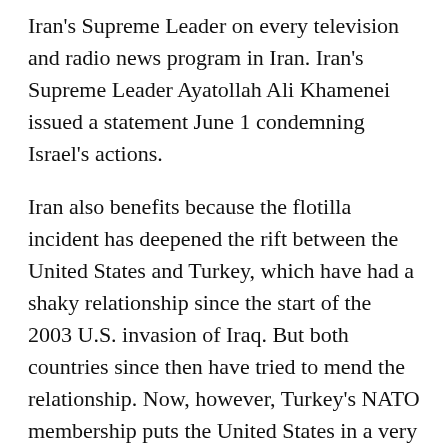Iran's Supreme Leader on every television and radio news program in Iran. Iran's Supreme Leader Ayatollah Ali Khamenei issued a statement June 1 condemning Israel's actions.
Iran also benefits because the flotilla incident has deepened the rift between the United States and Turkey, which have had a shaky relationship since the start of the 2003 U.S. invasion of Iraq. But both countries since then have tried to mend the relationship. Now, however, Turkey's NATO membership puts the United States in a very difficult position.
Under Article V of the NATO charter, any NATO member that is attacked in Europe or North America